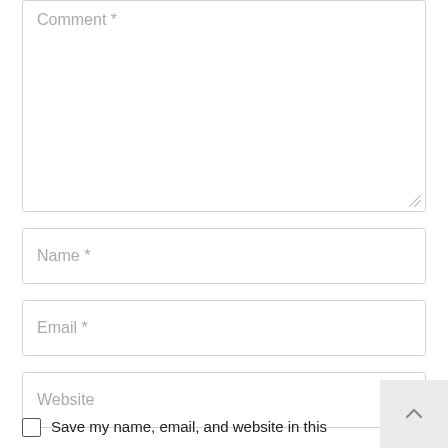Comment *
Name *
Email *
Website
Save my name, email, and website in this